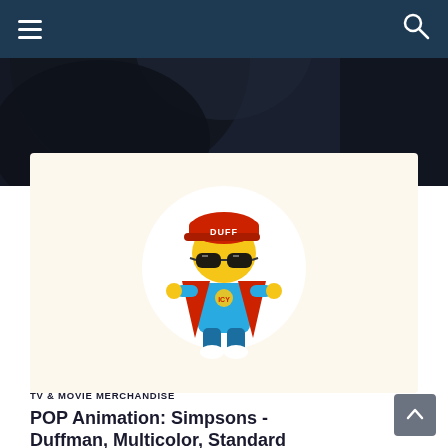Navigation bar with hamburger menu and search icon
[Figure (photo): Dark hero background image showing blurred figures — partially visible at top of page]
[Figure (photo): Funko POP Animation figure of Duffman from The Simpsons — yellow character wearing red cap labeled Duff, black sunglasses, blue and red superhero outfit, displayed on cream/ivory background circle]
TV & MOVIE MERCHANDISE
POP Animation: Simpsons - Duffman, Multicolor, Standard